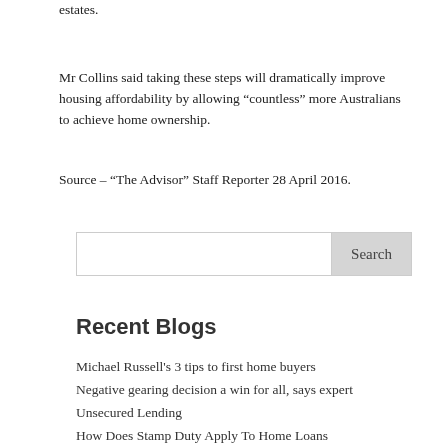estates.
Mr Collins said taking these steps will dramatically improve housing affordability by allowing “countless” more Australians to achieve home ownership.
Source – “The Advisor” Staff Reporter 28 April 2016.
[Figure (other): Search input box with Search button]
Recent Blogs
Michael Russell’s 3 tips to first home buyers
Negative gearing decision a win for all, says expert
Unsecured Lending
How Does Stamp Duty Apply To Home Loans